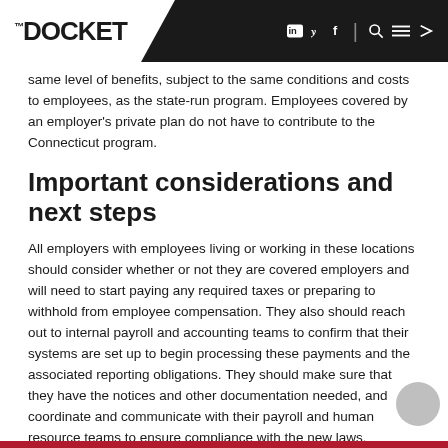THE DOCKET
same level of benefits, subject to the same conditions and costs to employees, as the state-run program. Employees covered by an employer's private plan do not have to contribute to the Connecticut program.
Important considerations and next steps
All employers with employees living or working in these locations should consider whether or not they are covered employers and will need to start paying any required taxes or preparing to withhold from employee compensation. They also should reach out to internal payroll and accounting teams to confirm that their systems are set up to begin processing these payments and the associated reporting obligations. They should make sure that they have the notices and other documentation needed, and coordinate and communicate with their payroll and human resource teams to ensure compliance with the new laws.